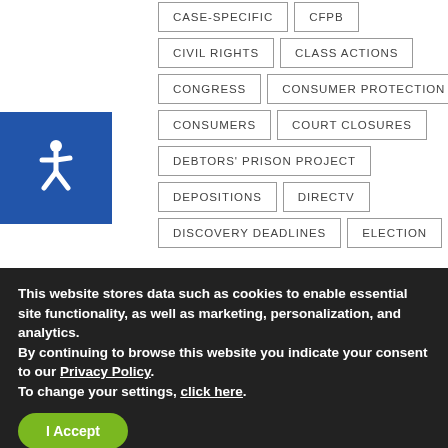[Figure (logo): Blue square accessibility icon with wheelchair symbol in white]
CASE-SPECIFIC
CFPB
CIVIL RIGHTS
CLASS ACTIONS
CONGRESS
CONSUMER PROTECTION
CONSUMERS
COURT CLOSURES
DEBTORS' PRISON PROJECT
DEPOSITIONS
DIRECTV
DISCOVERY DEADLINES
ELECTION
This website stores data such as cookies to enable essential site functionality, as well as marketing, personalization, and analytics. By continuing to browse this website you indicate your consent to our Privacy Policy. To change your settings, click here.
I Accept